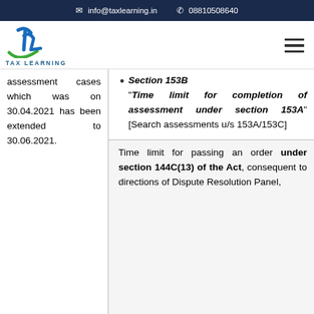info@taxlearning.in   08810508640
[Figure (logo): Tax Learning logo with TL letters in blue and green]
assessment cases which was on 30.04.2021 has been extended to 30.06.2021.
Section 153B "Time limit for completion of assessment under section 153A" [Search assessments u/s 153A/153C]
Time limit for passing an order under section 144C(13) of the Act, consequent to directions of Dispute Resolution Panel, as...